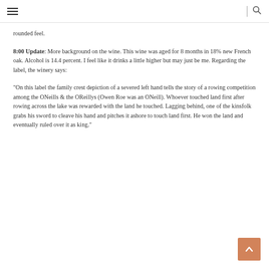≡  |  🔍
rounded feel.
8:00 Update: More background on the wine. This wine was aged for 8 months in 18% new French oak. Alcohol is 14.4 percent. I feel like it drinks a little higher but may just be me. Regarding the label, the winery says:
"On this label the family crest depiction of a severed left hand tells the story of a rowing competition among the ONeills & the OReillys (Owen Roe was an ONeill). Whoever touched land first after rowing across the lake was rewarded with the land he touched. Lagging behind, one of the kinsfolk grabs his sword to cleave his hand and pitches it ashore to touch land first. He won the land and eventually ruled over it as king."